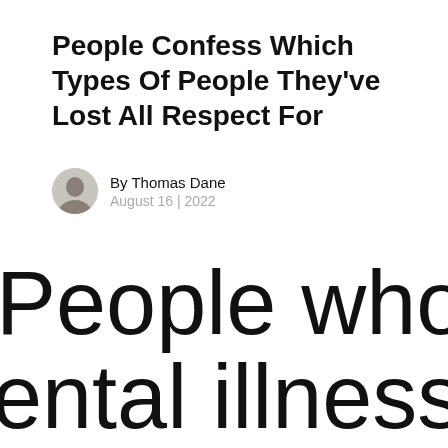People Confess Which Types Of People They've Lost All Respect For
By Thomas Dane
August 16 | 2022
People who fake mental illnesses f